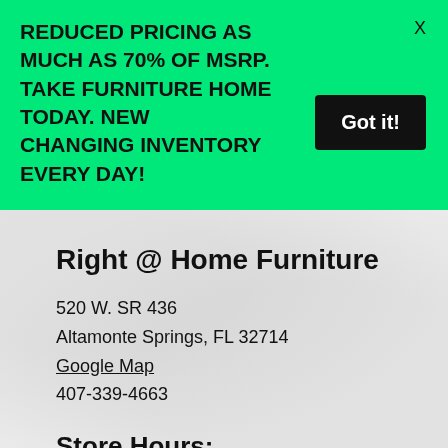REDUCED PRICING AS MUCH AS 70% OF MSRP. TAKE FURNITURE HOME TODAY. NEW CHANGING INVENTORY EVERY DAY!
Right @ Home Furniture
520 W. SR 436
Altamonte Springs, FL 32714
Google Map
407-339-4663
Store Hours:
Mon – Sat 10am – 6pm
Sun 12 – 5pm
Yes, we are open today, come on by and visit our showroom.